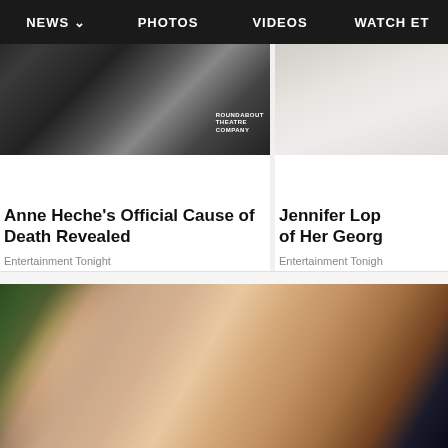NEWS  PHOTOS  VIDEOS  WATCH ET
[Figure (photo): Woman at Roundabout Theatre Company event, short blonde hair, black dress]
Anne Heche's Official Cause of Death Revealed
Entertainment Tonight
[Figure (photo): Partially visible image, light gray/white background, appears to be clothing]
Jennifer Lop... of Her Georg...
Entertainment Tonight
[Figure (photo): Pregnant woman holding belly, blurred green plant background, wearing beige top and dark pants]